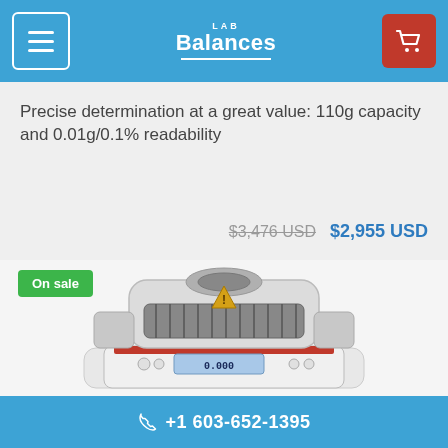LAB Balances
Precise determination at a great value: 110g capacity and 0.01g/0.1% readability
$3,476 USD  $2,955 USD
[Figure (photo): Lab moisture analyzer/balance instrument - white device with heating element on top and digital display on front, on sale badge shown]
+1 603-652-1395